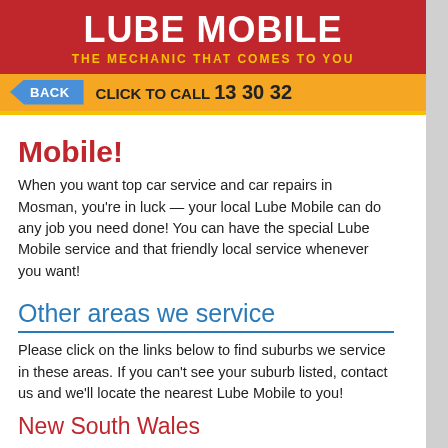LUBE MOBILE — THE MECHANIC THAT COMES TO YOU
BACK   CLICK TO CALL 13 30 32
Mobile!
When you want top car service and car repairs in Mosman, you're in luck — your local Lube Mobile can do any job you need done! You can have the special Lube Mobile service and that friendly local service whenever you want!
Other areas we service
Please click on the links below to find suburbs we service in these areas. If you can't see your suburb listed, contact us and we'll locate the nearest Lube Mobile to you!
New South Wales